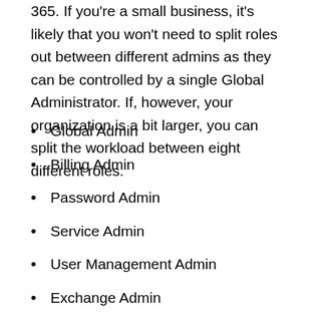365. If you're a small business, it's likely that you won't need to split roles out between different admins as they can be controlled by a single Global Administrator. If, however, your organization is a bit larger, you can split the workload between eight different roles.
Global Admin
Billing Admin
Password Admin
Service Admin
User Management Admin
Exchange Admin
SharePoint Admin